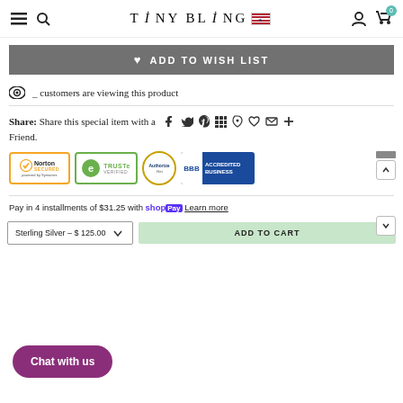TINY BLING — navigation header with menu, search, account, cart (0)
♥ ADD TO WISH LIST
👁 _ customers are viewing this product
Share: Share this special item with a Friend.
[Figure (logo): Trust badges: Norton Secured powered by Symantec, TRUSTe Verified, Authorize.Net, BBB Accredited Business]
Pay in 4 installments of $31.25 with Shop Pay  Learn more
Sterling Silver – $ 125.00  ADD TO CART
Chat with us